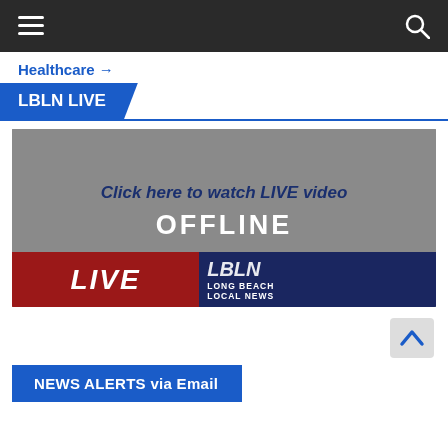≡  [navigation bar]  🔍
Healthcare →
LBLN LIVE
[Figure (screenshot): Video player showing offline state with text 'Click here to watch LIVE video' and an OFFLINE overlay. Bottom banner shows LIVE LBLN LONG BEACH LOCAL NEWS branding in red and dark blue.]
NEWS ALERTS via Email